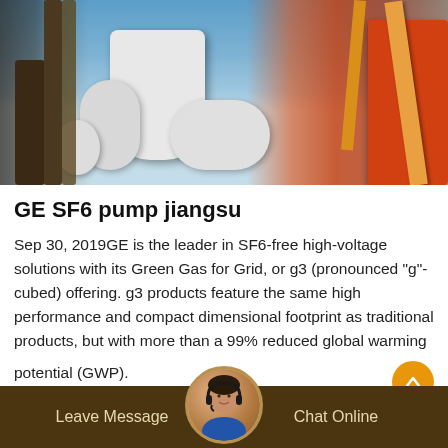[Figure (photo): Industrial scene showing workers on electrical substation equipment with white cylindrical GIS apparatus, scaffolding, blue sky, and an orange crane on the right side]
GE SF6 pump jiangsu
Sep 30, 2019GE is the leader in SF6-free high-voltage solutions with its Green Gas for Grid, or g3 (pronounced "g"- cubed) offering. g3 products feature the same high performance and compact dimensional footprint as traditional products, but with more than a 99% reduced global warming potential (GWP).